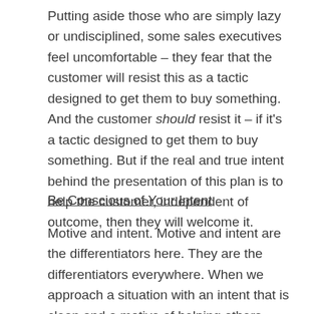Putting aside those who are simply lazy or undisciplined, some sales executives feel uncomfortable – they fear that the customer will resist this as a tactic designed to get them to buy something. And the customer should resist it – if it's a tactic designed to get them to buy something. But if the real and true intent behind the presentation of this plan is to help the customer, independent of outcome, then they will welcome it.
Be Conscious of Your Intent
Motive and intent. Motive and intent are the differentiators here. They are the differentiators everywhere. When we approach a situation with an intent that is clean and a motive of helping others, people respond. It is human nature. We are then in a position to help and to be of service. If we are providing